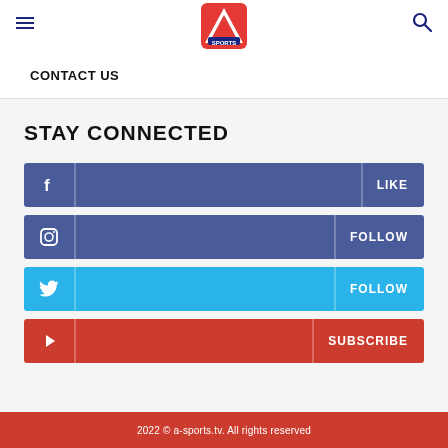A Sports logo, hamburger menu, search icon
CONTACT US
STAY CONNECTED
Facebook – LIKE
Instagram – FOLLOW
Twitter – FOLLOW
YouTube – SUBSCRIBE
2022 © a-sports.tv. All rights reserved